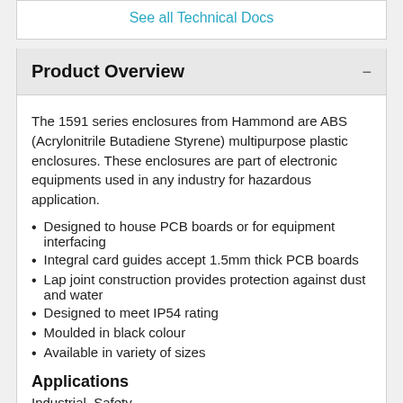See all Technical Docs
Product Overview
The 1591 series enclosures from Hammond are ABS (Acrylonitrile Butadiene Styrene) multipurpose plastic enclosures. These enclosures are part of electronic equipments used in any industry for hazardous application.
Designed to house PCB boards or for equipment interfacing
Integral card guides accept 1.5mm thick PCB boards
Lap joint construction provides protection against dust and water
Designed to meet IP54 rating
Moulded in black colour
Available in variety of sizes
Applications
Industrial, Safety